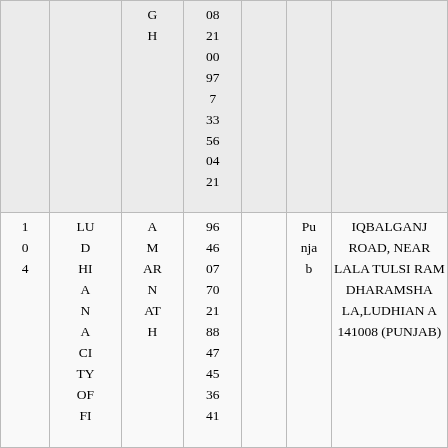|  |  | G
H | 08
21
00
97
7
33
56
04
21 |  |  |  |
| 1
0
4 | LU
D
HI
A
N
A
CI
TY
OF
FI | A
M
AR
N
AT
H | 96
46
07
70
21
88
47
45
36
41 |  | Pu
nja
b | IQBALGANJ ROAD, NEAR LALA TULSI RAM DHARAMSHALA,LUDHIANA 141008 (PUNJAB) |